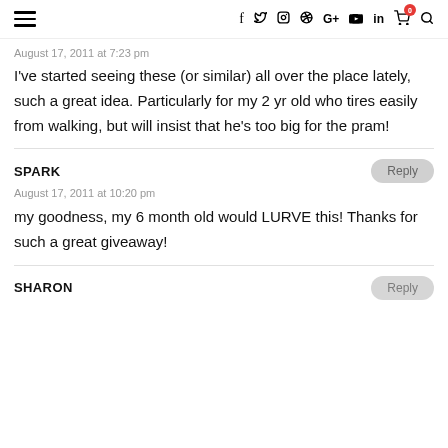Navigation bar with hamburger menu and social icons: f, Twitter, Instagram, Pinterest, G+, YouTube, LinkedIn, cart (0), search
August 17, 2011 at 7:23 pm
I've started seeing these (or similar) all over the place lately, such a great idea. Particularly for my 2 yr old who tires easily from walking, but will insist that he's too big for the pram!
SPARK
August 17, 2011 at 10:20 pm
my goodness, my 6 month old would LURVE this! Thanks for such a great giveaway!
SHARON